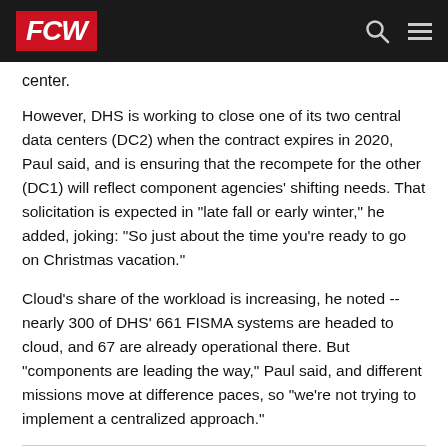FCW
center.
However, DHS is working to close one of its two central data centers (DC2) when the contract expires in 2020, Paul said, and is ensuring that the recompete for the other (DC1) will reflect component agencies' shifting needs. That solicitation is expected in "late fall or early winter," he added, joking: "So just about the time you're ready to go on Christmas vacation."
Cloud's share of the workload is increasing, he noted -- nearly 300 of DHS' 661 FISMA systems are headed to cloud, and 67 are already operational there. But "components are leading the way," Paul said, and different missions move at difference paces, so "we're not trying to implement a centralized approach."
Share This:
[Figure (other): Social media sharing icons: Twitter, LinkedIn, Facebook, Email, and a search/share icon, displayed as colored circles at the bottom of the page.]